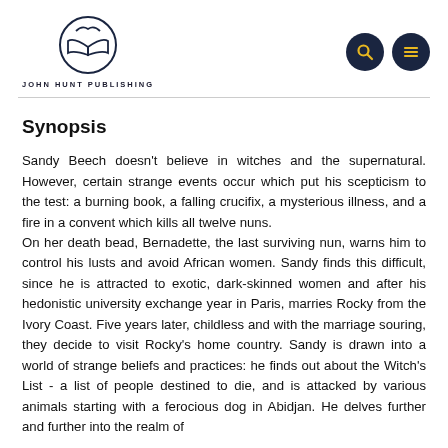JOHN HUNT PUBLISHING
Synopsis
Sandy Beech doesn't believe in witches and the supernatural. However, certain strange events occur which put his scepticism to the test: a burning book, a falling crucifix, a mysterious illness, and a fire in a convent which kills all twelve nuns.
On her death bead, Bernadette, the last surviving nun, warns him to control his lusts and avoid African women. Sandy finds this difficult, since he is attracted to exotic, dark-skinned women and after his hedonistic university exchange year in Paris, marries Rocky from the Ivory Coast. Five years later, childless and with the marriage souring, they decide to visit Rocky's home country. Sandy is drawn into a world of strange beliefs and practices: he finds out about the Witch's List - a list of people destined to die, and is attacked by various animals starting with a ferocious dog in Abidjan. He delves further and further into the realm of